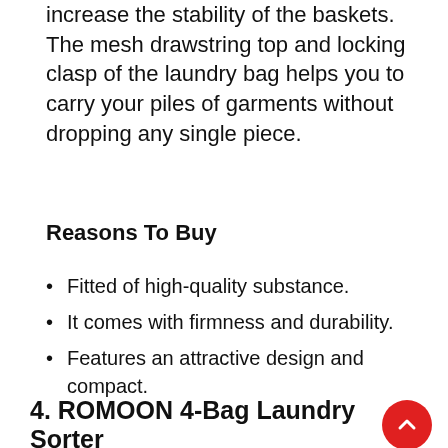increase the stability of the baskets. The mesh drawstring top and locking clasp of the laundry bag helps you to carry your piles of garments without dropping any single piece.
Reasons To Buy
Fitted of high-quality substance.
It comes with firmness and durability.
Features an attractive design and compact.
4. ROMOON 4-Bag Laundry Sorter
[Figure (photo): Photo of a ROMOON 4-bag laundry sorter with metal frame and dark fabric bags, partially visible at the bottom of the page.]